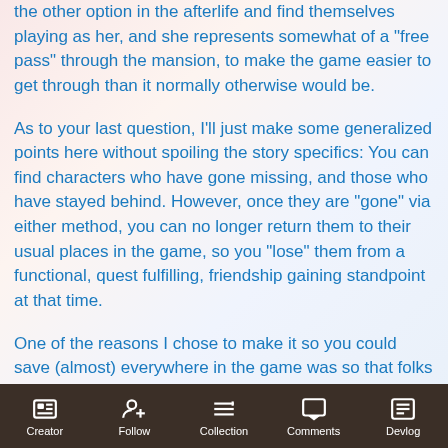the other option in the afterlife and find themselves playing as her, and she represents somewhat of a "free pass" through the mansion, to make the game easier to get through than it normally otherwise would be.
As to your last question, I'll just make some generalized points here without spoiling the story specifics: You can find characters who have gone missing, and those who have stayed behind. However, once they are "gone" via either method, you can no longer return them to their usual places in the game, so you "lose" them from a functional, quest fulfilling, friendship gaining standpoint at that time.
One of the reasons I chose to make it so you could save (almost) everywhere in the game was so that folks could frequently save/reload as they pleased if
Creator  Follow  Collection  Comments  Devlog